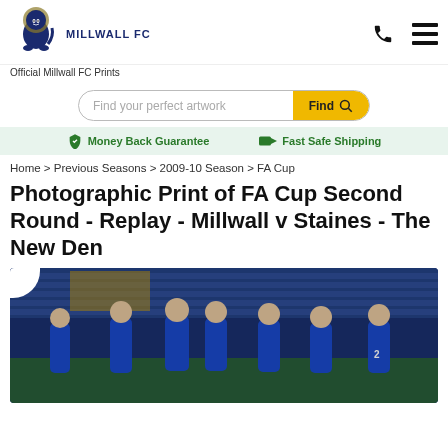[Figure (logo): Millwall FC lion crest logo with text MILLWALL FC]
Official Millwall FC Prints
Find your perfect artwork
Money Back Guarantee   Fast Safe Shipping
Home > Previous Seasons > 2009-10 Season > FA Cup
Photographic Print of FA Cup Second Round - Replay - Millwall v Staines - The New Den
[Figure (photo): Football players in blue Millwall FC kits celebrating on the pitch at The New Den stadium, night match]